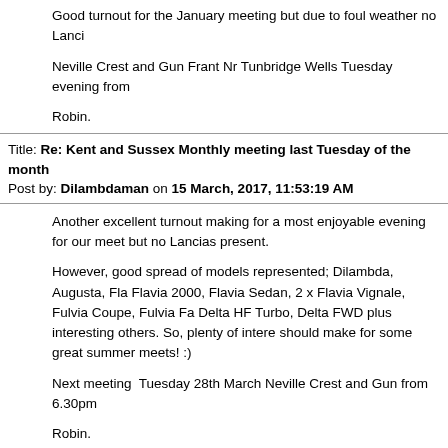Good turnout for the January meeting but due to foul weather no Lanci

Neville Crest and Gun Frant Nr Tunbridge Wells Tuesday evening from

Robin.
Title: Re: Kent and Sussex Monthly meeting last Tuesday of the month
Post by: Dilambdaman on 15 March, 2017, 11:53:19 AM
Another excellent turnout making for a most enjoyable evening for our meet but no Lancias present.

However, good spread of models represented; Dilambda, Augusta, Fla Flavia 2000, Flavia Sedan, 2 x Flavia Vignale, Fulvia Coupe, Fulvia Fa Delta HF Turbo, Delta FWD plus interesting others. So, plenty of intere should make for some great summer meets! :)

Next meeting Tuesday 28th March Neville Crest and Gun from 6.30pm

Robin.
Title: Re: Kent and Sussex Monthly meeting last Tuesday of the month
Post by: Dilambdaman on 12 April, 2017, 09:38:41 PM
The March meeting saw only 9 members (our lowest yet) but 5 Lancias Monte Carlo, 2000 Coupe, Fulvia Fanalone, Flavia Coupe and Integrale

Next meeting Tuesday 25th April at the Neville crest and Gun from 6.T